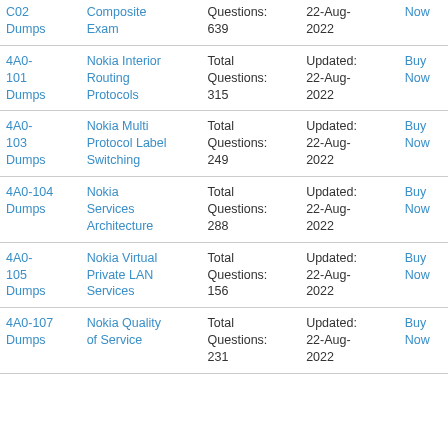| Exam | Name | Questions | Updated | Action |
| --- | --- | --- | --- | --- |
| C02 Dumps | Composite Exam | Total Questions: 639 | Updated: 22-Aug-2022 | Buy Now |
| 4A0-101 Dumps | Nokia Interior Routing Protocols | Total Questions: 315 | Updated: 22-Aug-2022 | Buy Now |
| 4A0-103 Dumps | Nokia Multi Protocol Label Switching | Total Questions: 249 | Updated: 22-Aug-2022 | Buy Now |
| 4A0-104 Dumps | Nokia Services Architecture | Total Questions: 288 | Updated: 22-Aug-2022 | Buy Now |
| 4A0-105 Dumps | Nokia Virtual Private LAN Services | Total Questions: 156 | Updated: 22-Aug-2022 | Buy Now |
| 4A0-107 Dumps | Nokia Quality of Service | Total Questions: 231 | Updated: 22-Aug-2022 | Buy Now |